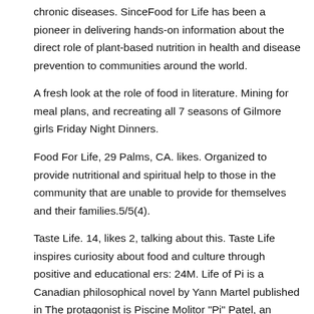chronic diseases. SinceFood for Life has been a pioneer in delivering hands-on information about the direct role of plant-based nutrition in health and disease prevention to communities around the world.
A fresh look at the role of food in literature. Mining for meal plans, and recreating all 7 seasons of Gilmore girls Friday Night Dinners.
Food For Life, 29 Palms, CA. likes. Organized to provide nutritional and spiritual help to those in the community that are unable to provide for themselves and their families.5/5(4).
Taste Life. 14, likes 2, talking about this. Taste Life inspires curiosity about food and culture through positive and educational ers: 24M. Life of Pi is a Canadian philosophical novel by Yann Martel published in The protagonist is Piscine Molitor "Pi" Patel, an Indian Tamil boy from Pondicherry who explores issues of spirituality and metaphysics from an early age.
He survives days after a shipwreck while stranded on a lifeboat in the Pacific Ocean with a Bengal tiger which raises questions about the nature of Author: Yann Martel. A Life in Food by Bea Tollman A